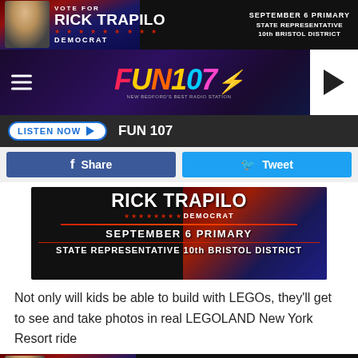[Figure (photo): Campaign advertisement banner for Rick Trapilo, Democrat, September 6 Primary, State Representative 10th Bristol District]
[Figure (logo): FUN 107 radio station logo with navigation bar]
LISTEN NOW  FUN 107
[Figure (infographic): Facebook Share and Twitter Tweet social sharing buttons]
[Figure (photo): Rick Trapilo campaign image: RICK TRAPILO DEMOCRAT SEPTEMBER 6 PRIMARY STATE REPRESENTATIVE 10th BRISTOL DISTRICT]
Not only will kids be able to build with LEGOs, they'll get to see and take photos in real LEGOLAND New York Resort ride
[Figure (photo): Campaign advertisement banner at bottom: VOTE FOR RICK TRAPILO DEMOCRAT SEPTEMBER 6 PRIMARY STATE REPRESENTATIVE 10th BRISTOL DISTRICT]